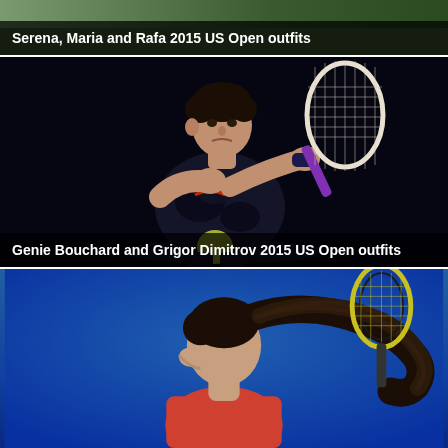[Figure (photo): Tennis players photo with dark green/outdoor background, partial image at top]
Serena, Maria and Rafa 2015 US Open outfits
[Figure (photo): Grigor Dimitrov hitting a backhand shot, wearing dark Nike shirt, dark blue background]
Genie Bouchard and Grigor Dimitrov 2015 US Open outfits
[Figure (photo): Female tennis player with dark ponytail flying, serving or hitting, blue background]